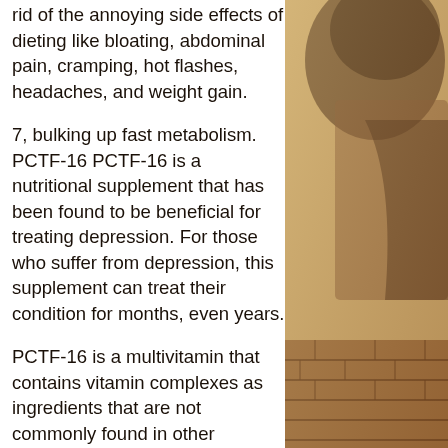rid of the annoying side effects of dieting like bloating, abdominal pain, cramping, hot flashes, headaches, and weight gain.
7, bulking up fast metabolism. PCTF-16 PCTF-16 is a nutritional supplement that has been found to be beneficial for treating depression. For those who suffer from depression, this supplement can treat their condition for months, even years.
PCTF-16 is a multivitamin that contains vitamin complexes as ingredients that are not commonly found in other vitamins and can be a great choice to help treat depression without having to take a multivitamin, bulking up calculator. PCTF-16 can be consumed daily as a beverage, or as an oil, which greatly improves its health value, especially after taking one pill daily for 6 weeks.
[Figure (photo): Sepia-toned photograph on the right side of the page showing a partial figure, possibly a person, against a brick wall background with warm brown tones.]